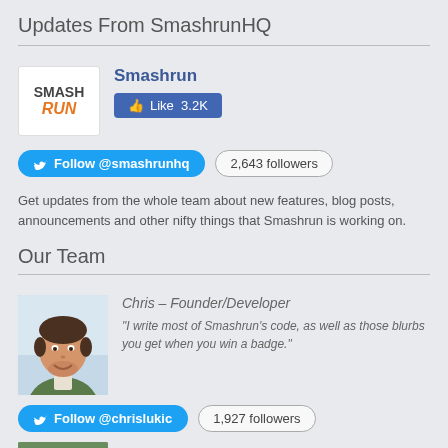Updates From SmashrunHQ
[Figure (logo): Smashrun logo — white square with 'SMASH' in dark and 'RUN' in orange italic]
Smashrun
[Figure (screenshot): Facebook Like button showing 3.2K likes]
[Figure (screenshot): Twitter Follow @smashrunhq button]
2,643 followers
Get updates from the whole team about new features, blog posts, announcements and other nifty things that Smashrun is working on.
Our Team
[Figure (photo): Photo of Chris, smiling man with dark hair, outdoors]
Chris – Founder/Developer
“I write most of Smashrun’s code, as well as those blurbs you get when you win a badge.”
[Figure (screenshot): Twitter Follow @chrislukic button]
1,927 followers
[Figure (photo): Photo of Jacklyn, partial view]
Jacklyn – Founder/QA